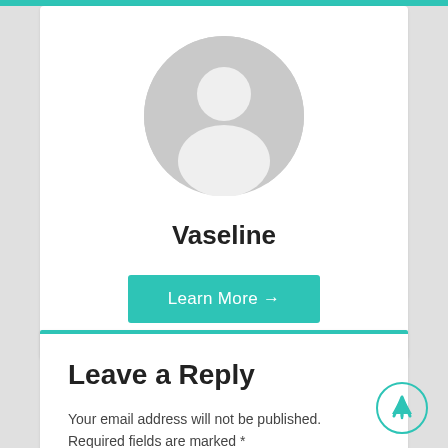[Figure (illustration): Grey circular default user avatar icon with head and shoulders silhouette]
Vaseline
Learn More →
Leave a Reply
Your email address will not be published. Required fields are marked *
Comment *